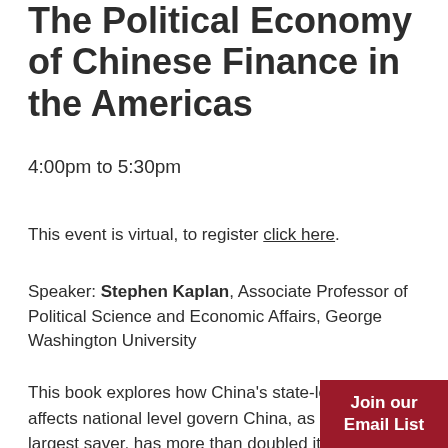The Political Economy of Chinese Finance in the Americas
4:00pm to 5:30pm
This event is virtual, to register click here.
Speaker: Stephen Kaplan, Associate Professor of Political Science and Economic Affairs, George Washington University
This book explores how China's state-led capitalism affects national level govern... China, as the world's largest saver, has more than doubled its overseas banking presence
Join our Email List